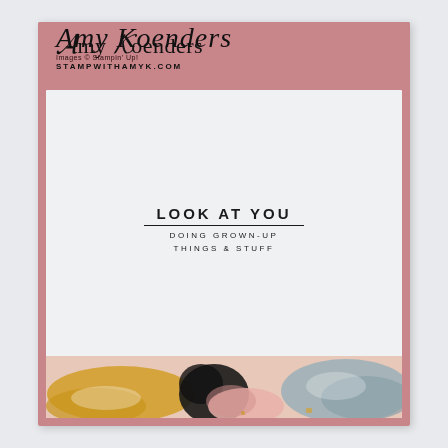[Figure (photo): Greeting card photo showing a pink/rose bordered card with 'Amy Koenders' logo at top, white inner panel with stamped text 'LOOK AT YOU / DOING GROWN-UP / THINGS & STUFF', and abstract art strip at bottom with gold, black, pink and grey paint marks. Background is light grey-blue.]